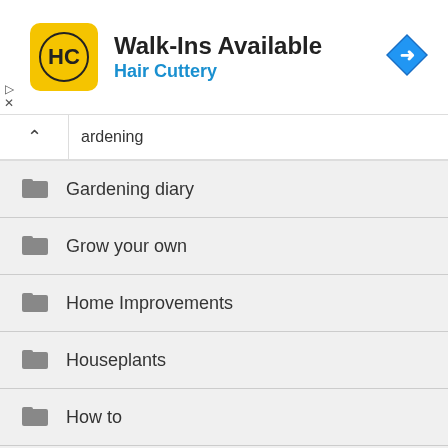[Figure (infographic): Hair Cuttery advertisement banner with logo, 'Walk-Ins Available' text, and navigation icon]
ardening
Gardening diary
Grow your own
Home Improvements
Houseplants
How to
Landscaping
My work